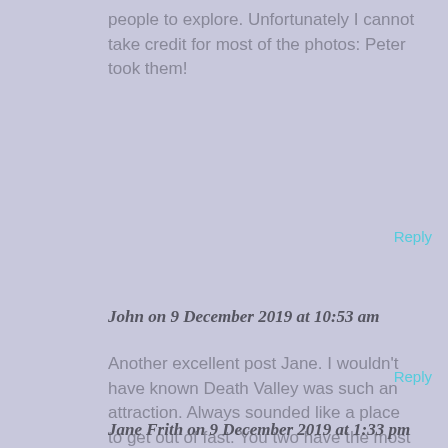people to explore. Unfortunately I cannot take credit for most of the photos: Peter took them!
Reply
John on 9 December 2019 at 10:53 am
Another excellent post Jane. I wouldn't have known Death Valley was such an attraction. Always sounded like a place to get out of fast. You two have the most awesome road trips.
Reply
Jane Frith on 9 December 2019 at 1:33 pm